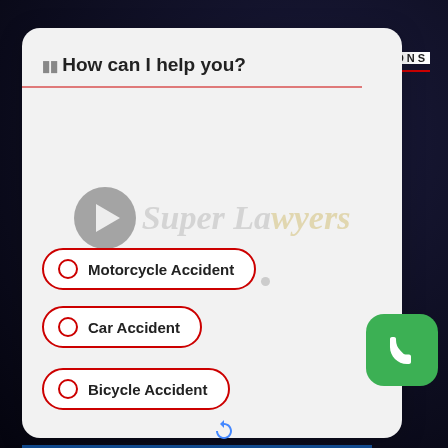How can I help you?
RECOGNITIONS
[Figure (logo): Super Lawyers logo watermark with play button overlay]
Motorcycle Accident
Car Accident
Bicycle Accident
[Figure (illustration): Green phone call button icon (rounded square)]